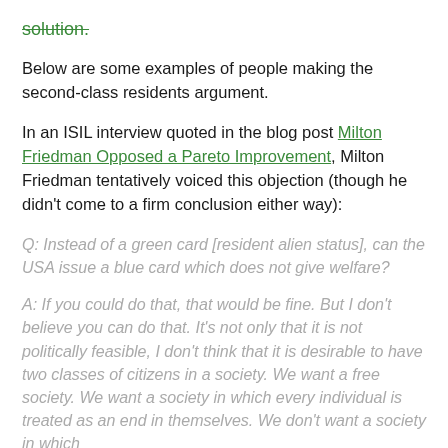solution. [strikethrough green]
Below are some examples of people making the second-class residents argument.
In an ISIL interview quoted in the blog post Milton Friedman Opposed a Pareto Improvement, Milton Friedman tentatively voiced this objection (though he didn’t come to a firm conclusion either way):
Q: Instead of a green card [resident alien status], can the USA issue a blue card which does not give welfare?
A: If you could do that, that would be fine. But I don’t believe you can do that. It’s not only that it is not politically feasible, I don’t think that it is desirable to have two classes of citizens in a society. We want a free society. We want a society in which every individual is treated as an end in themselves. We don’t want a society in which